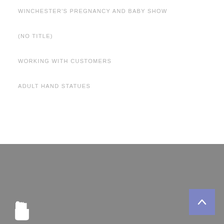WINCHESTER'S PREGNANCY AND BABY SHOW
(NO TITLE)
WORKING WITH CUSTOMERS
ADULT HAND STATUES
[Figure (other): Gray footer section with a hand icon/logo at bottom left and a blue scroll-to-top button at bottom right]